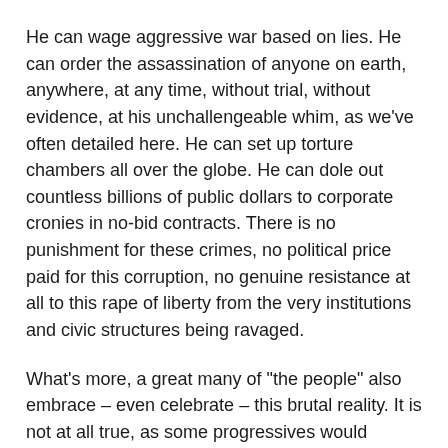He can wage aggressive war based on lies. He can order the assassination of anyone on earth, anywhere, at any time, without trial, without evidence, at his unchallengeable whim, as we've often detailed here. He can set up torture chambers all over the globe. He can dole out countless billions of public dollars to corporate cronies in no-bid contracts. There is no punishment for these crimes, no political price paid for this corruption, no genuine resistance at all to this rape of liberty from the very institutions and civic structures being ravaged.
What's more, a great many of "the people" also embrace – even celebrate – this brutal reality. It is not at all true, as some progressives would contend, that there is some kind of collective goodness in "just plain folks," some magical kernel of broad-minded, open-hearted, democratic wisdom just waiting to be tapped if only "the people" could be freed from the bedevilling lies of their wicked leaders. Most lies succeed because people want to believe them.
This is doubly true in politics. Not only history but also our own daily experience shows us that those in power (or those